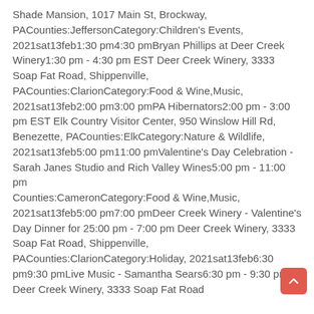Shade Mansion, 1017 Main St, Brockway, PACounties:JeffersonCategory:Children's Events, 2021sat13feb1:30 pm4:30 pmBryan Phillips at Deer Creek Winery1:30 pm - 4:30 pm EST Deer Creek Winery, 3333 Soap Fat Road, Shippenville, PACounties:ClarionCategory:Food & Wine,Music, 2021sat13feb2:00 pm3:00 pmPA Hibernators2:00 pm - 3:00 pm EST Elk Country Visitor Center, 950 Winslow Hill Rd, Benezette, PACounties:ElkCategory:Nature & Wildlife, 2021sat13feb5:00 pm11:00 pmValentine's Day Celebration - Sarah Janes Studio and Rich Valley Wines5:00 pm - 11:00 pm Counties:CameronCategory:Food & Wine,Music, 2021sat13feb5:00 pm7:00 pmDeer Creek Winery - Valentine's Day Dinner for 25:00 pm - 7:00 pm Deer Creek Winery, 3333 Soap Fat Road, Shippenville, PACounties:ClarionCategory:Holiday, 2021sat13feb6:30 pm9:30 pmLive Music - Samantha Sears6:30 pm - 9:30 pm Deer Creek Winery, 3333 Soap Fat Road